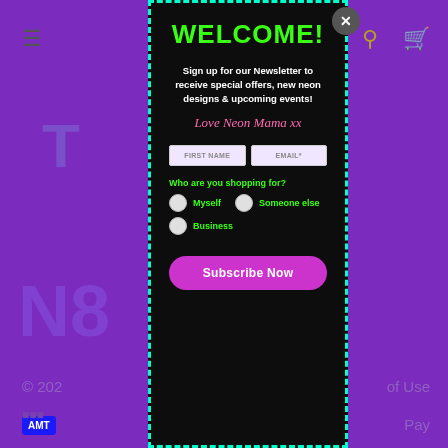[Figure (screenshot): Website newsletter signup modal popup on a purple e-commerce site background. Modal has black background with dashed cyan border. Contains WELCOME! in green, signup text in white, cursive pink signature 'Love Neon Mama xx', two input fields (FIRST NAME, EMAIL*), green question 'Who are you shopping for?' with three radio options (Myself, Someone else, Business), and a purple 'Subscribe Now' button.]
WELCOME!
Sign up for our Newsletter to receive special offers, new neon designs & upcoming events!
Love Neon Mama xx
Who are you shopping for?
Myself
Someone else
Business
Subscribe Now